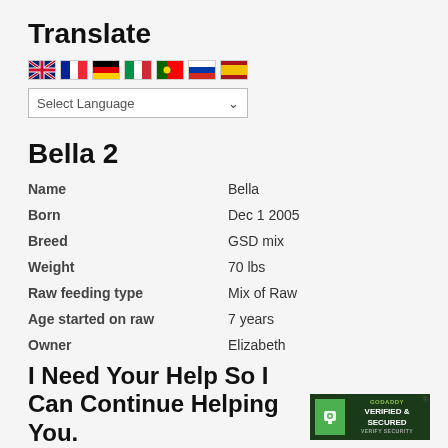Translate
[Figure (illustration): Row of country flag icons for language selection: UK, France, Germany, Italy, Portugal, Russia, Spain]
[Figure (screenshot): Select Language dropdown box]
Bella 2
| Field | Value |
| --- | --- |
| Name | Bella |
| Born | Dec 1 2005 |
| Breed | GSD mix |
| Weight | 70 lbs |
| Raw feeding type | Mix of Raw |
| Age started on raw | 7 years |
| Owner | Elizabeth |
| Live | Plymouth, MN |
I Need Your Help So I Can Continue Helping You.
[Figure (logo): GoDaddy Verified & Secured badge]